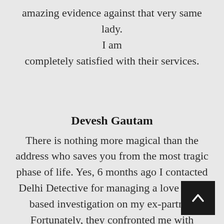amazing evidence against that very same lady. I am completely satisfied with their services.
Devesh Gautam
There is nothing more magical than the address who saves you from the most tragic phase of life. Yes, 6 months ago I contacted Delhi Detective for managing a love affair based investigation on my ex-partner. Fortunately, they confronted me with shocking evidence eventually, I am truly thankful to them.